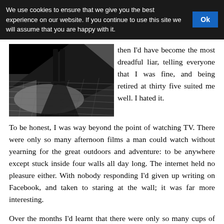We use cookies to ensure that we give you the best experience on our website. If you continue to use this site we will assume that you are happy with it. Ok
[Figure (photo): Black and white photograph of a street at night, showing a person's legs/shadow on wet cobblestone pavement with strong contrast between light and dark]
then I'd have become the most dreadful liar, telling everyone that I was fine, and being retired at thirty five suited me well. I hated it.
To be honest, I was way beyond the point of watching TV. There were only so many afternoon films a man could watch without yearning for the great outdoors and adventure: to be anywhere except stuck inside four walls all day long. The internet held no pleasure either. With nobody responding I'd given up writing on Facebook, and taken to staring at the wall; it was far more interesting.
Over the months I'd learnt that there were only so many cups of coffee I could drink without having to get up and relieve myself. The physiotherapist had said that moving around would do me good, help ease my leg and speed up recovery, so maybe a daily routine of